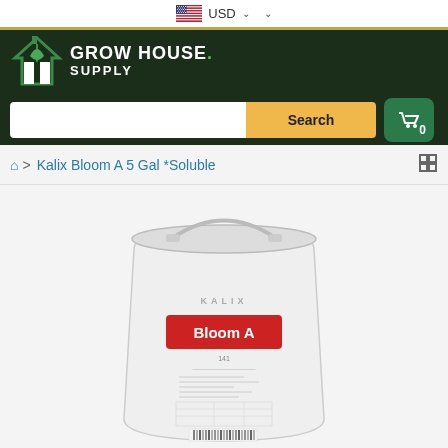USD
[Figure (logo): Grow House Supply logo with house icon on dark green background, with search bar and cart button]
Home > Kalix Bloom A 5 Gal *Soluble
[Figure (photo): White 5-gallon bucket with KALIX branding and red Bloom A label]